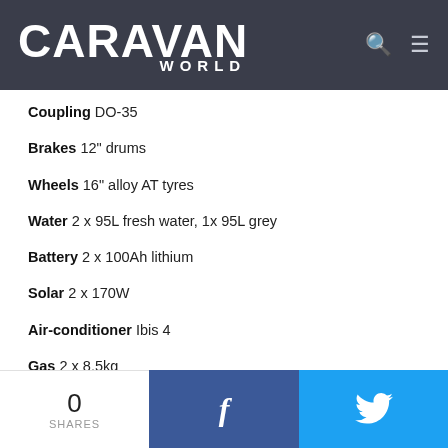CARAVAN WORLD
Coupling DO-35
Brakes 12" drums
Wheels 16" alloy AT tyres
Water 2 x 95L fresh water, 1x 95L grey
Battery 2 x 100Ah lithium
Solar 2 x 170W
Air-conditioner Ibis 4
Gas 2 x 8.5kg
Sway control AL-KO
0 SHARES  f  (Twitter bird)